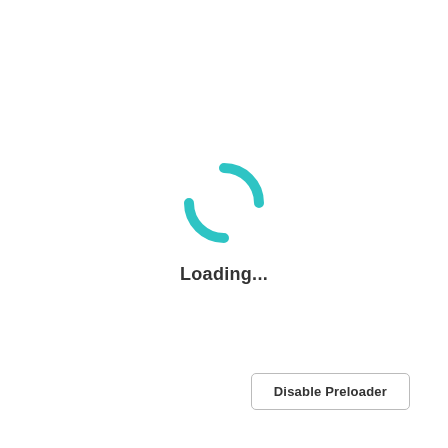[Figure (other): Teal/cyan circular loading spinner icon made of two curved arcs forming a circular shape with rounded ends]
Loading...
Disable Preloader